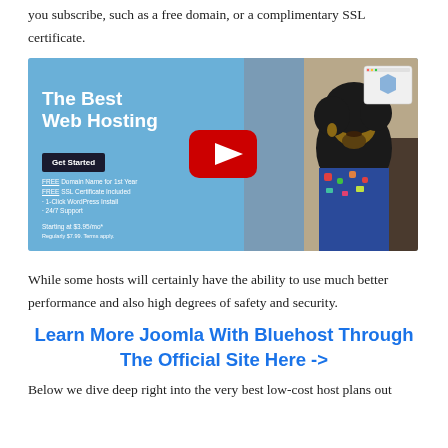you subscribe, such as a free domain, or a complimentary SSL certificate.
[Figure (screenshot): YouTube video thumbnail for Bluehost web hosting. Left half shows blue background with bold white text 'The Best Web Hosting', a dark 'Get Started' button, and bullet points listing FREE Domain Name for 1st Year, FREE SSL Certificate Included, 1-Click WordPress Install, 24/7 Support, starting at $3.95/mo. Center shows a red YouTube play button. Right half shows a photo of a man with an afro wearing a floral shirt.]
While some hosts will certainly have the ability to use much better performance and also high degrees of safety and security.
Learn More Joomla With Bluehost Through The Official Site Here ->
Below we dive deep right into the very best low-cost host plans out